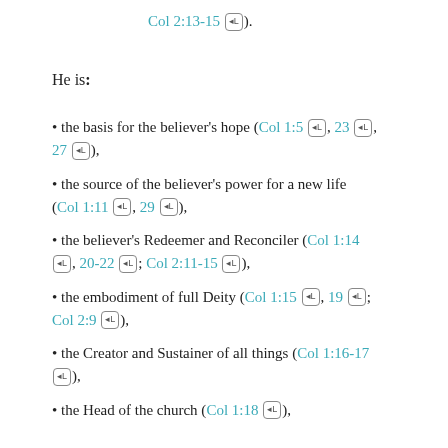Col 2:13-15 🔗).
He is:
the basis for the believer's hope (Col 1:5 🔗, 23 🔗, 27 🔗),
the source of the believer's power for a new life (Col 1:11 🔗, 29 🔗),
the believer's Redeemer and Reconciler (Col 1:14 🔗, 20-22 🔗; Col 2:11-15 🔗),
the embodiment of full Deity (Col 1:15 🔗, 19 🔗; Col 2:9 🔗),
the Creator and Sustainer of all things (Col 1:16-17 🔗),
the Head of the church (Col 1:18 🔗),